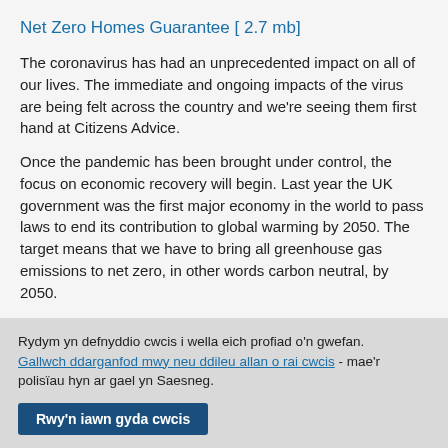Net Zero Homes Guarantee [ 2.7 mb]
The coronavirus has had an unprecedented impact on all of our lives. The immediate and ongoing impacts of the virus are being felt across the country and we're seeing them first hand at Citizens Advice.
Once the pandemic has been brought under control, the focus on economic recovery will begin. Last year the UK government was the first major economy in the world to pass laws to end its contribution to global warming by 2050. The target means that we have to bring all greenhouse gas emissions to net zero, in other words carbon neutral, by 2050.
Rydym yn defnyddio cwcis i wella eich profiad o'n gwefan. Gallwch ddarganfod mwy neu ddileu allan o rai cwcis - mae'r polisïau hyn ar gael yn Saesneg.
Rwy'n iawn gyda cwcis